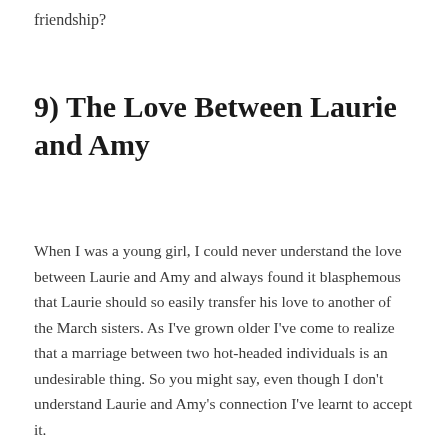friendship?
9) The Love Between Laurie and Amy
When I was a young girl, I could never understand the love between Laurie and Amy and always found it blasphemous that Laurie should so easily transfer his love to another of the March sisters. As I've grown older I've come to realize that a marriage between two hot-headed individuals is an undesirable thing. So you might say, even though I don't understand Laurie and Amy's connection I've learnt to accept it.